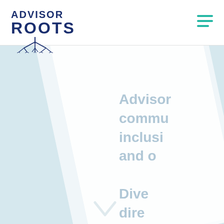[Figure (logo): Advisor Roots logo with tree roots graphic in dark navy blue]
[Figure (illustration): Hamburger menu icon with three teal/green horizontal lines]
[Figure (illustration): Hero background with light blue and white diagonal panels, partially visible faded text reading 'Advisor commu inclusi and o Dive dire' and a partial arrow or graphic at bottom]